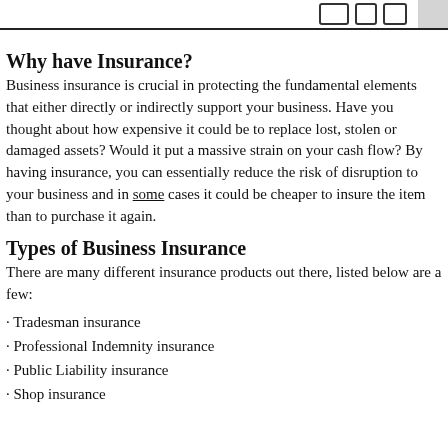Why have Insurance?
Business insurance is crucial in protecting the fundamental elements that either directly or indirectly support your business. Have you thought about how expensive it could be to replace lost, stolen or damaged assets? Would it put a massive strain on your cash flow? By having insurance, you can essentially reduce the risk of disruption to your business and in some cases it could be cheaper to insure the item than to purchase it again.
Types of Business Insurance
There are many different insurance products out there, listed below are a few:
· Tradesman insurance
· Professional Indemnity insurance
· Public Liability insurance
· Shop insurance